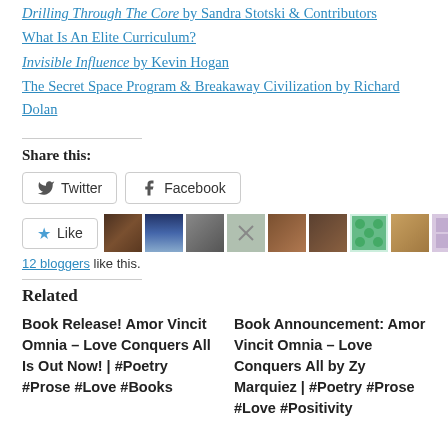Drilling Through The Core by Sandra Stotski & Contributors
What Is An Elite Curriculum?
Invisible Influence by Kevin Hogan
The Secret Space Program & Breakaway Civilization by Richard Dolan
Share this:
[Figure (other): Twitter and Facebook share buttons]
[Figure (other): Like button with 10 blogger avatar thumbnails]
12 bloggers like this.
Related
Book Release! Amor Vincit Omnia – Love Conquers All Is Out Now! | #Poetry #Prose #Love #Books
Book Announcement: Amor Vincit Omnia – Love Conquers All by Zy Marquiez | #Poetry #Prose #Love #Positivity